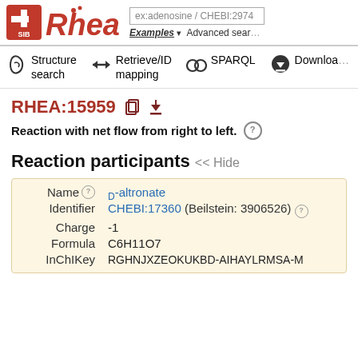[Figure (logo): SIB Swiss Institute of Bioinformatics logo (red square with white cross and stylized figure) next to the Rhea database logo in red text with dots]
ex:adenosine / CHEBI:2974
Examples ▾  Advanced search
Structure search
Retrieve/ID mapping
SPARQL
Download
RHEA:15959
Reaction with net flow from right to left.
Reaction participants << Hide
| Label | Value |
| --- | --- |
| Name | D-altronate |
| Identifier | CHEBI:17360 (Beilstein: 3906526) |
| Charge | -1 |
| Formula | C6H11O7 |
| InChIKey | RGHNJXZEOKUKBD-AIHAYLRMSA-M |